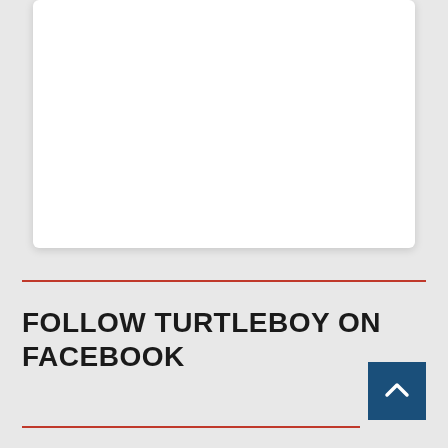[Figure (other): White card/panel area (partial, cropped at top)]
FOLLOW TURTLEBOY ON FACEBOOK